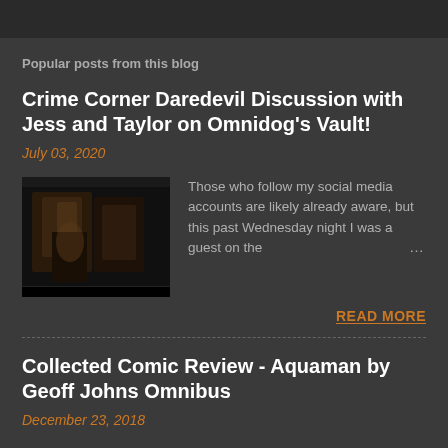Popular posts from this blog
Crime Corner Daredevil Discussion with Jess and Taylor on Omnidog's Vault!
July 03, 2020
[Figure (photo): Thumbnail image of comic books or related media, dark toned image]
Those who follow my social media accounts are likely already aware, but this past Wednesday night I was a guest on the …
READ MORE
Collected Comic Review - Aquaman by Geoff Johns Omnibus
December 23, 2018